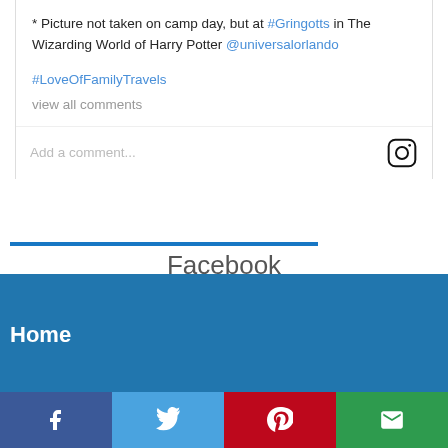* Picture not taken on camp day, but at #Gringotts in The Wizarding World of Harry Potter @universalorlando

#LoveOfFamilyTravels
view all comments
Add a comment...
Facebook
Home
[Figure (other): Social share bar with Facebook, Twitter, Pinterest, and Email buttons]